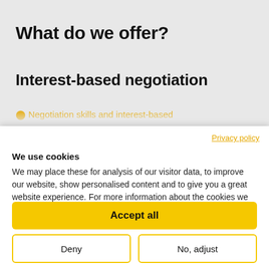What do we offer?
Interest-based negotiation
Privacy policy
We use cookies
We may place these for analysis of our visitor data, to improve our website, show personalised content and to give you a great website experience. For more information about the cookies we use open the settings.
Accept all
Deny
No, adjust